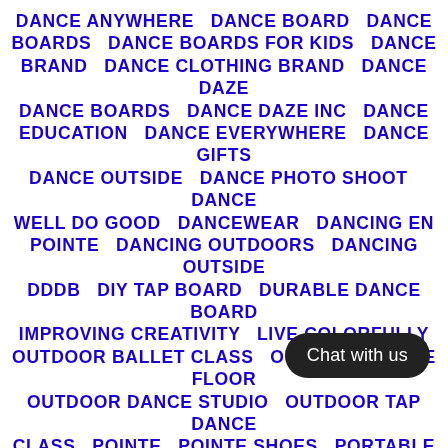DANCE ANYWHERE   DANCE BOARD   DANCE BOARDS   DANCE BOARDS FOR KIDS   DANCE BRAND   DANCE CLOTHING BRAND   DANCE DAZE DANCE BOARDS   DANCE DAZE INC   DANCE EDUCATION   DANCE EVERYWHERE   DANCE GIFTS   DANCE OUTSIDE   DANCE PHOTO SHOOT   DANCE WELL DO GOOD   DANCEWEAR   DANCING EN POINTE   DANCING OUTDOORS   DANCING OUTSIDE   DDDB   DIY TAP BOARD   DURABLE DANCE BOARD   IMPROVING CREATIVITY   LIVE COLORFULLY   OUTDOOR BALLET CLASS   OUTDOOR DANCE FLOOR   OUTDOOR DANCE STUDIO   OUTDOOR TAP DANCE CLASS   POINTE   POINTE SHOES   PORTABLE DANCE BOARD   PORTABLE DANCE FLOOR   PORTABLE DANCE FLOOR FOR SALE   PORTABLE FLOORS   PORTABLE TAP BOARD   PORTABLE TAP D…   PRODUCT BASED BUSINESS   PRO…   SAUMIRAH MCWOODSON   SPRUNG DANCE BOARDS
[Figure (other): Dark rounded chat button overlay in bottom-right area with white text 'Chat with us']